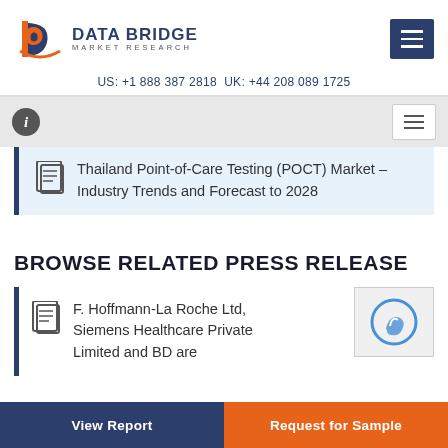Data Bridge Market Research
US: +1 888 387 2818 UK: +44 208 089 1725
Thailand Point-of-Care Testing (POCT) Market – Industry Trends and Forecast to 2028
BROWSE RELATED PRESS RELEASE
F. Hoffmann-La Roche Ltd, Siemens Healthcare Private Limited and BD are